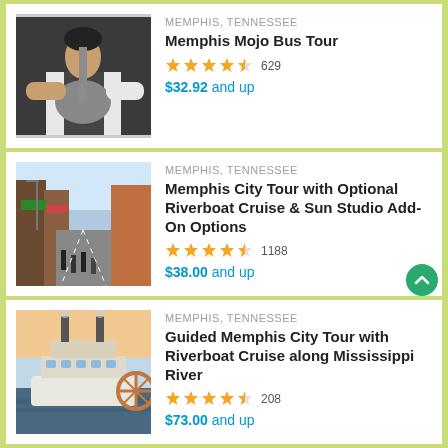[Figure (photo): Person playing a guitar, musical instrument close-up]
MEMPHIS, TENNESSEE
Memphis Mojo Bus Tour
4.5 stars, 629 reviews
$32.92 and up
[Figure (photo): Street scene of Beale Street in Memphis, Tennessee]
MEMPHIS, TENNESSEE
Memphis City Tour with Optional Riverboat Cruise & Sun Studio Add-On Options
4.5 stars, 1188 reviews
$38.00 and up
[Figure (photo): Riverboat on the Mississippi River near Memphis]
MEMPHIS, TENNESSEE
Guided Memphis City Tour with Riverboat Cruise along Mississippi River
4.5 stars, 208 reviews
$73.00 and up